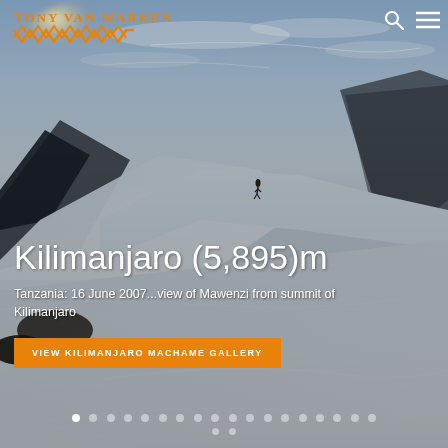[Figure (photo): Aerial/summit view of Kilimanjaro with snow-covered slopes, rocky outcrops, a lone hiker on a ridge, clouds below, and Mawenzi peak in the background against a blue sky.]
Tony van Marken
Kilimanjaro (5,895)m
Tanzania: 16 June 2007...view of Mawenzi from summit of Kilimanjaro
VIEW KILIMANJARO MACHAME GALLERY